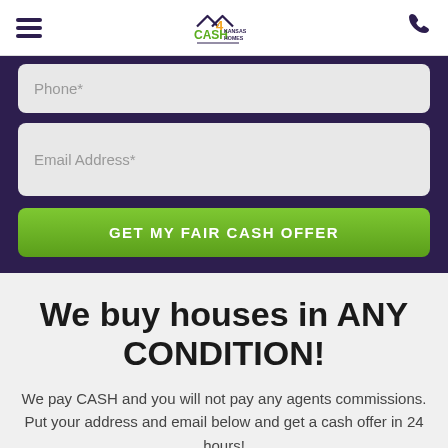Cash 4 Kansas Homes
Phone*
Email Address*
GET MY FAIR CASH OFFER
We buy houses in ANY CONDITION!
We pay CASH and you will not pay any agents commissions. Put your address and email below and get a cash offer in 24 hours!